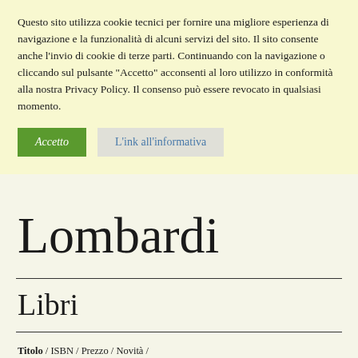Questo sito utilizza cookie tecnici per fornire una migliore esperienza di navigazione e la funzionalità di alcuni servizi del sito. Il sito consente anche l'invio di cookie di terze parti. Continuando con la navigazione o cliccando sul pulsante "Accetto" acconsenti al loro utilizzo in conformità alla nostra Privacy Policy. Il consenso può essere revocato in qualsiasi momento.
Accetto
L'ink all'informativa
Lombardi
Libri
Titolo / ISBN / Prezzo / Novità / Imposta Ordine Ascendente